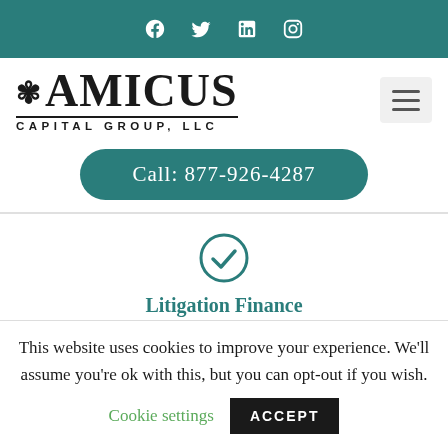Social media icons: Facebook, Twitter, LinkedIn, Instagram
[Figure (logo): Amicus Capital Group LLC logo with stylized leaf/flower beside the A]
Call: 877-926-4287
Litigation Finance
This website uses cookies to improve your experience. We'll assume you're ok with this, but you can opt-out if you wish.
Cookie settings
ACCEPT